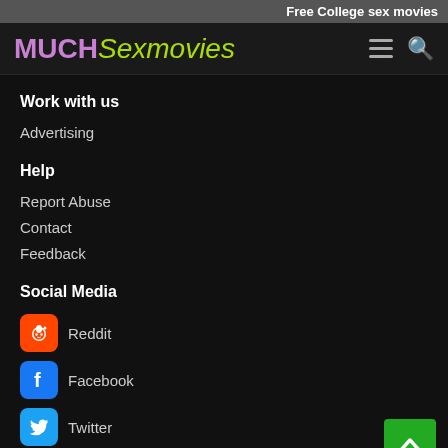Free College sex movies
MUCHSexmovies
Work with us
Advertising
Help
Report Abuse
Contact
Feedback
Social Media
Reddit
Facebook
Twitter